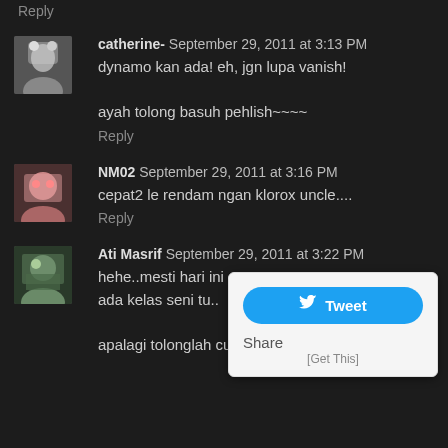Reply
catherine-  September 29, 2011 at 3:13 PM
dynamo kan ada! eh, jgn lupa vanish!

ayah tolong basuh pehlish~~~~
Reply
NM02  September 29, 2011 at 3:16 PM
cepat2 le rendam ngan klorox uncle....
Reply
Ati Masrif  September 29, 2011 at 3:22 PM
hehe..mesti hari ini
ada kelas seni tu..

apalagi tolonglah cucikan :)
[Figure (screenshot): Tweet and Share social media popup widget with Tweet button and Share text]